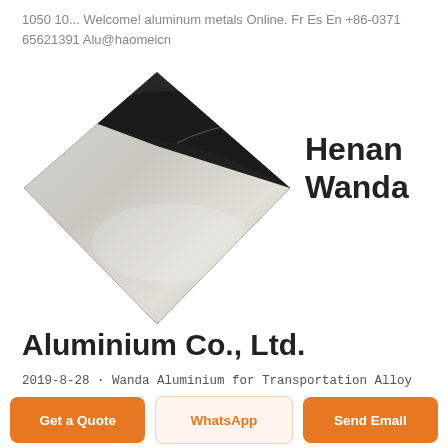1050 10... Welcome! aluminum metals Online. Fr Es En +86-0371 65621391 Alu@haomeicn
[Figure (photo): Photograph of a shiny aluminum sheet/plate with a metallic reflective surface, folded corner showing black film peeling back]
Henan Wanda
Aluminium Co., Ltd.
2019-8-28 · Wanda Aluminium for Transportation Alloy : 1050 1060 1100 3003 5005 5052 5754 5083 6061
Get a Quote
WhatsApp
Send Email